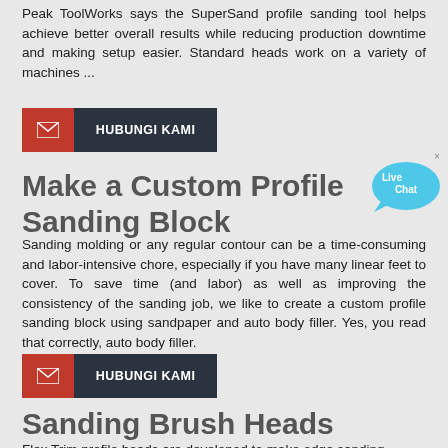Peak ToolWorks says the SuperSand profile sanding tool helps achieve better overall results while reducing production downtime and making setup easier. Standard heads work on a variety of machines ...
[Figure (other): HUBUNGI KAMI button with red email icon on left and dark grey label on right]
Make a Custom Profile Sanding Block
[Figure (other): Live Chat bubble widget in blue]
Sanding molding or any regular contour can be a time-consuming and labor-intensive chore, especially if you have many linear feet to cover. To save time (and labor) as well as improving the consistency of the sanding job, we like to create a custom profile sanding block using sandpaper and auto body filler. Yes, you read that correctly, auto body filler.
[Figure (other): HUBUNGI KAMI button with red email icon on left and dark grey label on right]
Sanding Brush Heads
Flex Trim profile heads are developed to make edge sanding